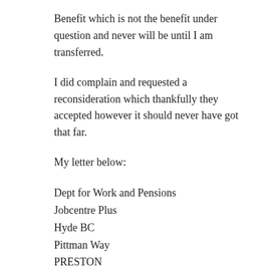Benefit which is not the benefit under question and never will be until I am transferred.
I did complain and requested a reconsideration which thankfully they accepted however it should never have got that far.
My letter below:
Dept for Work and Pensions
Jobcentre Plus
Hyde BC
Pittman Way
PRESTON
PR11 2AS